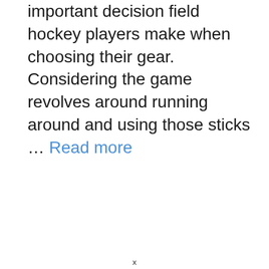important decision field hockey players make when choosing their gear. Considering the game revolves around running around and using those sticks … Read more
x